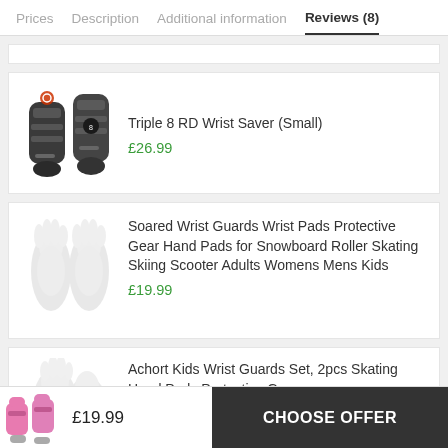Prices  Description  Additional information  Reviews (8)
[Figure (photo): Triple 8 RD Wrist Saver (Small) product image - black wrist guards]
Triple 8 RD Wrist Saver (Small)
£26.99
[Figure (photo): Soared Wrist Guards product image - faded grey wrist pads]
Soared Wrist Guards Wrist Pads Protective Gear Hand Pads for Snowboard Roller Skating Skiing Scooter Adults Womens Mens Kids
£19.99
[Figure (photo): Achort Kids Wrist Guards product image - partial pink protective gear]
Achort Kids Wrist Guards Set, 2pcs Skating Hand Pads Protective Gear with Adjustable Strap for Child...
[Figure (photo): Small product thumbnail in sticky bar - pink protective gear set]
£19.99
CHOOSE OFFER